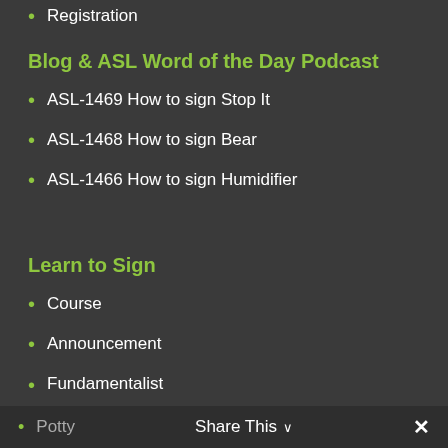Registration
Blog & ASL Word of the Day Podcast
ASL-1469 How to sign Stop It
ASL-1468 How to sign Bear
ASL-1466 How to sign Humidifier
Learn to Sign
Course
Announcement
Fundamentalist
Uncle
Potty
Share This ✓  ✕